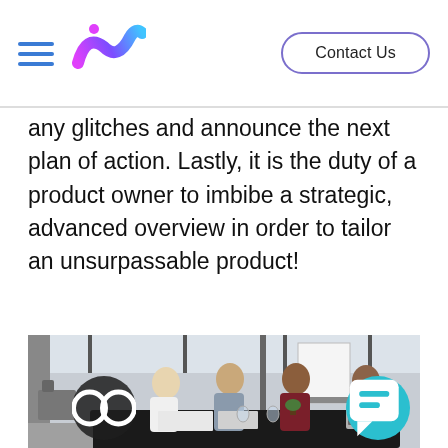Contact Us
any glitches and announce the next plan of action. Lastly, it is the duty of a product owner to imbibe a strategic, advanced overview in order to tailor an unsurpassable product!
[Figure (photo): Four colleagues having a meeting around a dark conference table in a modern industrial-style office with large windows. A whiteboard is visible in the background.]